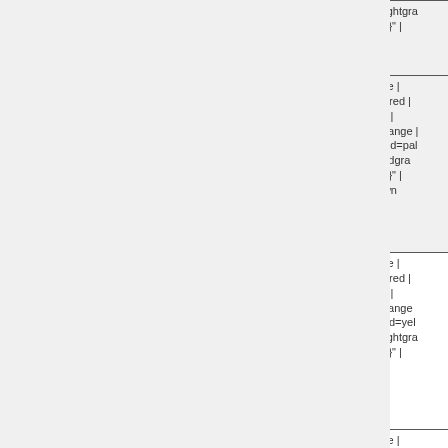| Feature/Component | Status/Legend |
| --- | --- |
| (partial row - magenta) | | N/A=lightgray | yellow }}" | |
| SMBus | OK=lime | TODO=red | No=red | WIP=orange | Untested=pal | N/A-lightgra | yellow }}" | Unknown |
| CAN bus | OK=lime | TODO=red | No=red | WIP=orange | Untested=yel | N/A=lightgray | yellow }}" | |
| CPU frequency scaling | OK=lime | TODO=red | No=red | WIP=orange | Untested=yel | N/A=lightgra | yellow }}" |